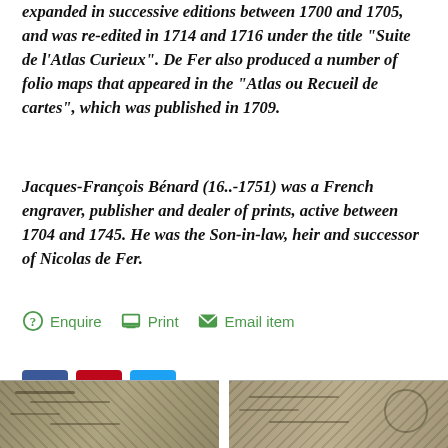expanded in successive editions between 1700 and 1705, and was re-edited in 1714 and 1716 under the title "Suite de l'Atlas Curieux". De Fer also produced a number of folio maps that appeared in the "Atlas ou Recueil de cartes", which was published in 1709.
Jacques-François Bénard (16..-1751) was a French engraver, publisher and dealer of prints, active between 1704 and 1745. He was the Son-in-law, heir and successor of Nicolas de Fer.
Enquire   Print   Email item
[Figure (other): Social sharing buttons: Facebook (blue), Pinterest (red), Twitter (blue)]
[Figure (photo): Two antique historical map images side by side at the bottom of the page.]